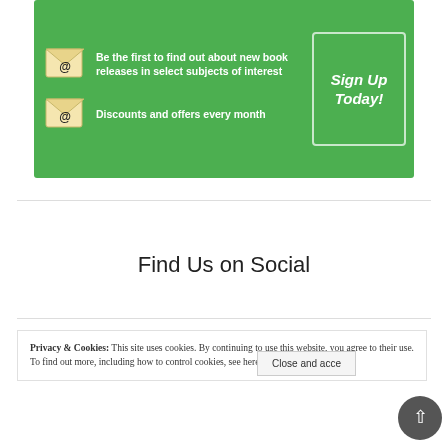[Figure (infographic): Green banner advertisement with envelope icons and text: 'Be the first to find out about new book releases in select subjects of interest' and 'Discounts and offers every month', with a 'Sign Up Today!' button box on the right.]
Find Us on Social
Privacy & Cookies: This site uses cookies. By continuing to use this website, you agree to their use. To find out more, including how to control cookies, see here: Cookie Policy